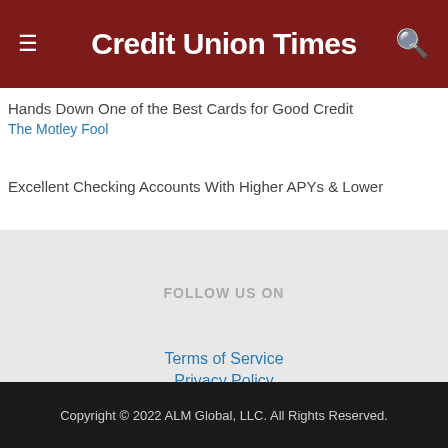Credit Union Times
Hands Down One of the Best Cards for Good Credit
The Motley Fool
Excellent Checking Accounts With Higher APYs & Lower
FOLLOW US ON
Terms of Service
Privacy Policy
Copyright © 2022 ALM Global, LLC. All Rights Reserved.